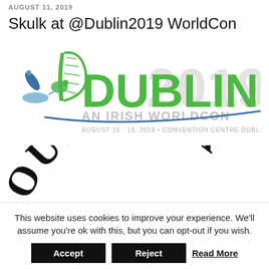AUGUST 11, 2019
Skulk at @Dublin2019 WorldCon
[Figure (logo): Dublin 2019 An Irish WorldCon logo — featuring a harp, dragon, rocket, narwhal, and spaceship illustration in blue and green, with text 'DUBLIN 2019 AN IRISH WORLDCON' and subtitle 'AUGUST 15 - 19, 2019 • CONVENTION CENTRE DUBLIN']
[Figure (logo): House Fox logo — arched text 'HOUSE FOX' in decorative serif font with a red fox illustration in the center, partially cropped]
This website uses cookies to improve your experience. We'll assume you're ok with this, but you can opt-out if you wish.
Accept   Reject   Read More